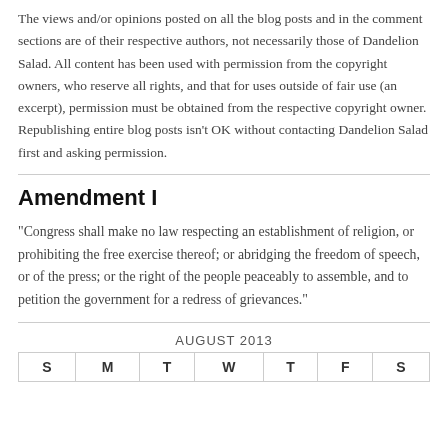The views and/or opinions posted on all the blog posts and in the comment sections are of their respective authors, not necessarily those of Dandelion Salad. All content has been used with permission from the copyright owners, who reserve all rights, and that for uses outside of fair use (an excerpt), permission must be obtained from the respective copyright owner. Republishing entire blog posts isn't OK without contacting Dandelion Salad first and asking permission.
Amendment I
"Congress shall make no law respecting an establishment of religion, or prohibiting the free exercise thereof; or abridging the freedom of speech, or of the press; or the right of the people peaceably to assemble, and to petition the government for a redress of grievances."
| S | M | T | W | T | F | S |
| --- | --- | --- | --- | --- | --- | --- |